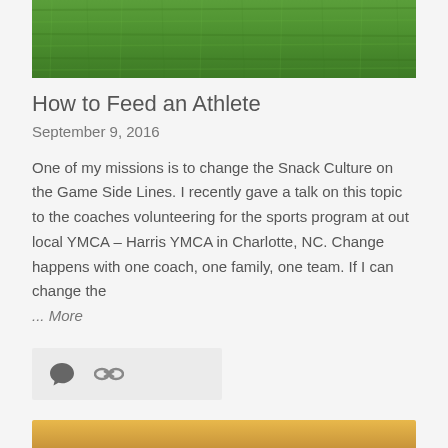[Figure (photo): Top portion of a grass field photo, cropped at the bottom]
How to Feed an Athlete
September 9, 2016
One of my missions is to change the Snack Culture on the Game Side Lines. I recently gave a talk on this topic to the coaches volunteering for the sports program at out local YMCA – Harris YMCA in Charlotte, NC.  Change happens with one coach, one family, one team.  If I can change the ... More
[Figure (other): Action bar with comment bubble icon and chain link icon]
[Figure (photo): Bottom image partially visible, warm golden/orange color, cropped]